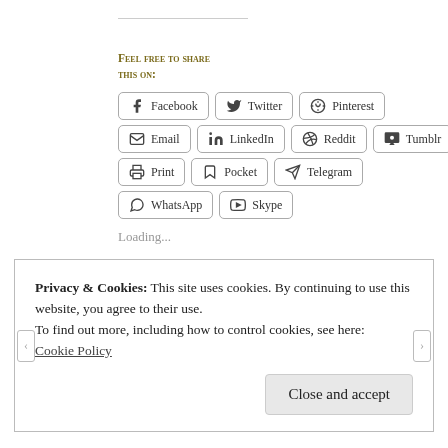Feel free to share this on:
[Figure (screenshot): Social share buttons: Facebook, Twitter, Pinterest, Email, LinkedIn, Reddit, Tumblr, Print, Pocket, Telegram, WhatsApp, Skype]
Loading...
Privacy & Cookies: This site uses cookies. By continuing to use this website, you agree to their use.
To find out more, including how to control cookies, see here:
Cookie Policy
Close and accept